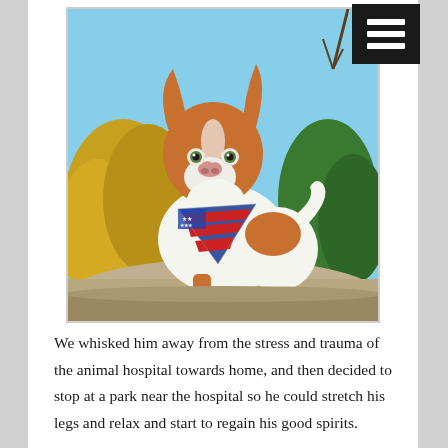[Figure (photo): A brown and white Border Collie dog wearing an American flag bandana, standing outdoors at a park with trees in the background. The dog is looking upward with alert ears.]
We whisked him away from the stress and trauma of the animal hospital towards home, and then decided to stop at a park near the hospital so he could stretch his legs and relax and start to regain his good spirits.